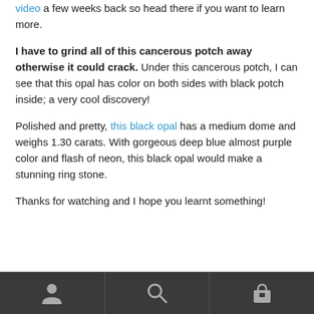video a few weeks back so head there if you want to learn more.
I have to grind all of this cancerous potch away otherwise it could crack. Under this cancerous potch, I can see that this opal has color on both sides with black potch inside; a very cool discovery!
Polished and pretty, this black opal has a medium dome and weighs 1.30 carats. With gorgeous deep blue almost purple color and flash of neon, this black opal would make a stunning ring stone.
Thanks for watching and I hope you learnt something!
[navigation bar with person, search, and shopping icons]